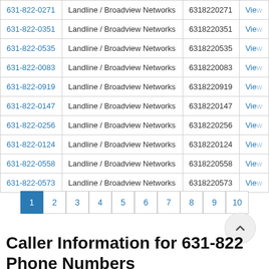| Phone Number | Type / Carrier | Digits | Action |
| --- | --- | --- | --- |
| 631-822-0271 | Landline / Broadview Networks | 6318220271 | View |
| 631-822-0351 | Landline / Broadview Networks | 6318220351 | View |
| 631-822-0535 | Landline / Broadview Networks | 6318220535 | View |
| 631-822-0083 | Landline / Broadview Networks | 6318220083 | View |
| 631-822-0919 | Landline / Broadview Networks | 6318220919 | View |
| 631-822-0147 | Landline / Broadview Networks | 6318220147 | View |
| 631-822-0256 | Landline / Broadview Networks | 6318220256 | View |
| 631-822-0124 | Landline / Broadview Networks | 6318220124 | View |
| 631-822-0558 | Landline / Broadview Networks | 6318220558 | View |
| 631-822-0573 | Landline / Broadview Networks | 6318220573 | View |
Pagination: 1 2 3 4 5 6 7 8 9 10
Caller Information for 631-822 Phone Numbers